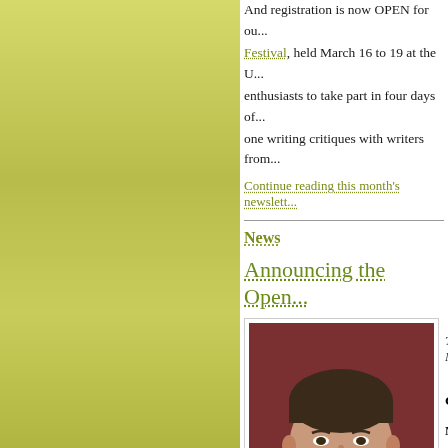And registration is now OPEN for our... Festival, held March 16 to 19 at the U... enthusiasts to take part in four days of... one writing critiques with writers from...
Continue reading this month's newslett...
News
Announcing the Open...
[Figure (photo): Portrait photo of a man against a dark red/maroon background]
The Ma...
Genev... Matth...
The aw... Malah...
Contes... submissions! Check out the full annou...